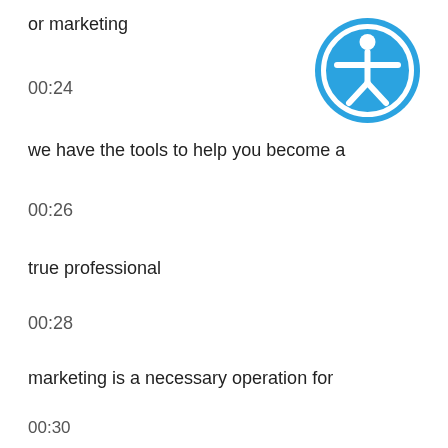or marketing
00:24
we have the tools to help you become a
00:26
true professional
00:28
marketing is a necessary operation for
00:30
any business looking to take a leap
00:32
[Figure (illustration): Accessibility icon: white human figure with outstretched arms inside a white circle, on a blue background circle]